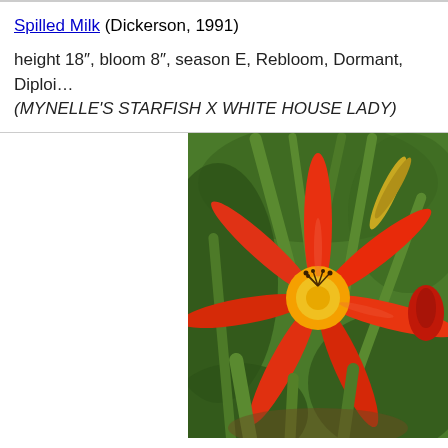Spilled Milk (Dickerson, 1991)
height 18″, bloom 8″, season E, Rebloom, Dormant, Diploid (MYNELLE’S STARFISH X WHITE HOUSE LADY)
[Figure (photo): Close-up photograph of a red-orange daylily flower with a bright yellow-orange center, surrounded by green foliage and leaves. The flower has long narrow spider-like petals.]